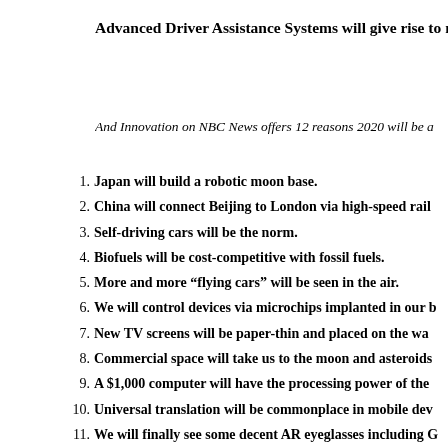Advanced Driver Assistance Systems will give rise to more a
And Innovation on NBC News offers 12 reasons 2020 will be a
1. Japan will build a robotic moon base.
2. China will connect Beijing to London via high-speed rail
3. Self-driving cars will be the norm.
4. Biofuels will be cost-competitive with fossil fuels.
5. More and more “flying cars” will be seen in the air.
6. We will control devices via microchips implanted in our b
7. New TV screens will be paper-thin and placed on the wa
8. Commercial space will take us to the moon and asteroids
9. A $1,000 computer will have the processing power of the
10. Universal translation will be commonplace in mobile dev
11. We will finally see some decent AR eyeglasses including G
12. A Synthetic brain will be created that functions like the h